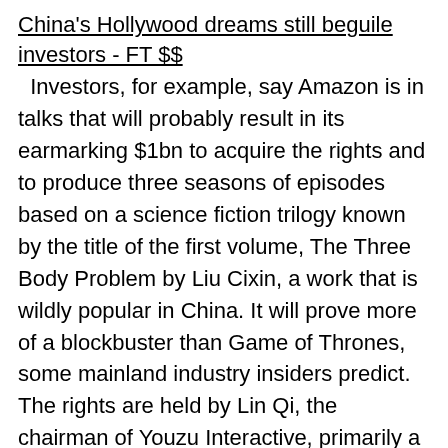China's Hollywood dreams still beguile investors - FT $$
Investors, for example, say Amazon is in talks that will probably result in its earmarking $1bn to acquire the rights and to produce three seasons of episodes based on a science fiction trilogy known by the title of the first volume, The Three Body Problem by Liu Cixin, a work that is wildly popular in China. It will prove more of a blockbuster than Game of Thrones, some mainland industry insiders predict. The rights are held by Lin Qi, the chairman of Youzu Interactive, primarily a developer of online games that is listed in China
Who's Afraid of Huawei? Security Worries Spread Beyond the U.S. - WSJ $$
National-security concerns surrounding China's Huawei Technologies Co. are spreading beyond the U.S. to key allies. The telecommunications equipment maker was a subject of